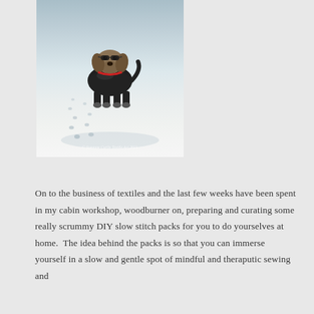[Figure (photo): A small dog wearing a black coat/jacket standing in snow, with paw prints visible in the snow behind it. Watermark text reads: © Suzanne Curlis Textile Art 2021]
© Suzanne Curlis Textile Art 2021
On to the business of textiles and the last few weeks have been spent in my cabin workshop, woodburner on, preparing and curating some really scrummy DIY slow stitch packs for you to do yourselves at home.  The idea behind the packs is so that you can immerse yourself in a slow and gentle spot of mindful and theraputic sewing and